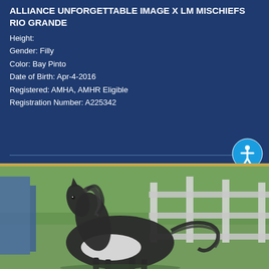ALLIANCE UNFORGETTABLE IMAGE X LM MISCHIEFS RIO GRANDE
Height:
Gender: Filly
Color: Bay Pinto
Date of Birth: Apr-4-2016
Registered: AMHA, AMHR Eligible
Registration Number: A225342
[Figure (photo): A young miniature horse (filly) with bay pinto coloring, running or moving in an outdoor paddock with white fence in the background. Greenery visible. The horse appears dark with white patches.]